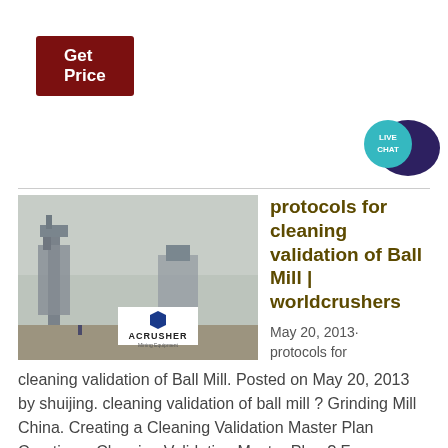Get Price
[Figure (illustration): Live Chat speech bubble icon with teal and dark purple colors]
[Figure (photo): Industrial mining or crushing plant facility in foggy conditions with ACRUSHER Mining Equipment logo overlay]
protocols for cleaning validation of Ball Mill | worldcrushers
May 20, 2013· protocols for
cleaning validation of Ball Mill. Posted on May 20, 2013 by shuijing. cleaning validation of ball mill ? Grinding Mill China. Creating a Cleaning Validation Master Plan Creating a Cleaning Validation Master Plan ? Free . say a manufacturer uses a 100-liter container and does a rinse with .